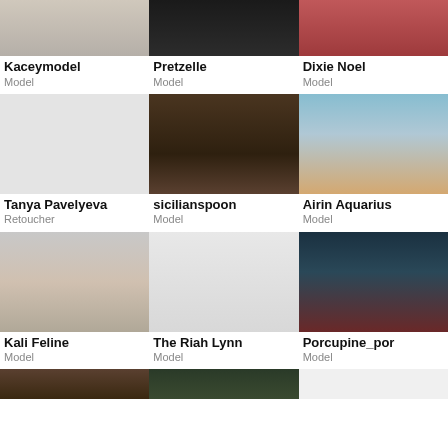[Figure (photo): Partial photo of Kaceymodel]
Kaceymodel
Model
[Figure (photo): Partial photo of Pretzelle]
Pretzelle
Model
[Figure (photo): Partial photo of Dixie Noel]
Dixie Noel
Model
[Figure (photo): Grey placeholder for Tanya Pavelyeva]
Tanya Pavelyeva
Retoucher
[Figure (photo): Photo of sicilianspoon, dark-haired model]
sicilianspoon
Model
[Figure (photo): Photo of Airin Aquarius, blonde model]
Airin Aquarius
Model
[Figure (photo): Photo of Kali Feline, model]
Kali Feline
Model
[Figure (photo): Photo of The Riah Lynn, model in black]
The Riah Lynn
Model
[Figure (photo): Photo of Porcupine_por, model]
Porcupine_por
Model
[Figure (photo): Partial row 4 photos]
[Figure (photo): Partial row 4 photo 2]
[Figure (photo): Partial row 4 photo 3]